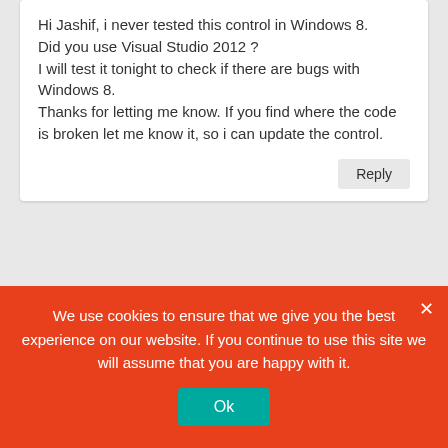Hi Jashif, i never tested this control in Windows 8. Did you use Visual Studio 2012 ? I will test it tonight to check if there are bugs with Windows 8. Thanks for letting me know. If you find where the code is broken let me know it, so i can update the control.
Reply
[Figure (illustration): Gear icon avatar with two red cog/gear shapes]
mesta
August 28, 2012 at 20:53
I upgraded the control to .Net
We use cookies to ensure that we give you the best experience on our website. If you continue to use this site we will assume that you are happy with it.
Ok